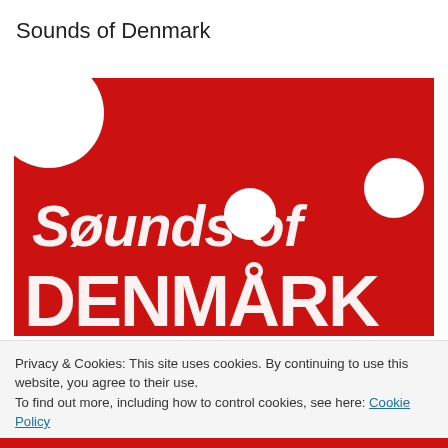Sounds of Denmark
[Figure (illustration): Red background logo image for 'Søunds of Denmark' with white circles decorating the corners/center, and large stylized white distressed text reading 'Søunds of DENMARK']
Privacy & Cookies: This site uses cookies. By continuing to use this website, you agree to their use.
To find out more, including how to control cookies, see here: Cookie Policy
Close and accept